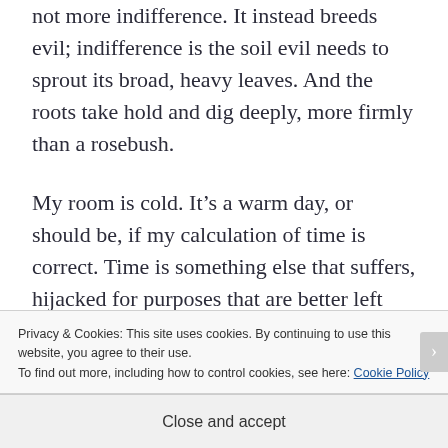not more indifference. It instead breeds evil; indifference is the soil evil needs to sprout its broad, heavy leaves. And the roots take hold and dig deeply, more firmly than a rosebush.
My room is cold. It's a warm day, or should be, if my calculation of time is correct. Time is something else that suffers, hijacked for purposes that are better left unconsidered. Although, why
Privacy & Cookies: This site uses cookies. By continuing to use this website, you agree to their use.
To find out more, including how to control cookies, see here: Cookie Policy
Close and accept